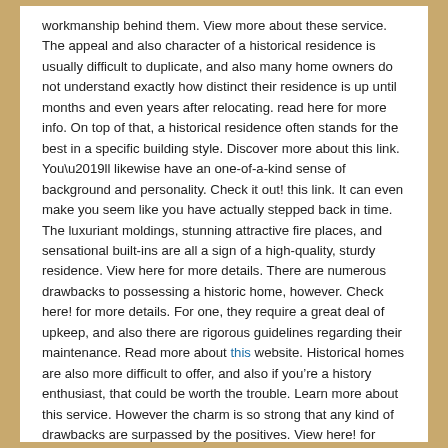workmanship behind them. View more about these service. The appeal and also character of a historical residence is usually difficult to duplicate, and also many home owners do not understand exactly how distinct their residence is up until months and even years after relocating. read here for more info. On top of that, a historical residence often stands for the best in a specific building style. Discover more about this link. You’ll likewise have an one-of-a-kind sense of background and personality. Check it out! this link. It can even make you seem like you have actually stepped back in time. The luxuriant moldings, stunning attractive fire places, and sensational built-ins are all a sign of a high-quality, sturdy residence. View here for more details. There are numerous drawbacks to possessing a historic home, however. Check here! for more details. For one, they require a great deal of upkeep, and also there are rigorous guidelines regarding their maintenance. Read more about this website. Historical homes are also more difficult to offer, and also if you’re a history enthusiast, that could be worth the trouble. Learn more about this service. However the charm is so strong that any kind of drawbacks are surpassed by the positives. View here! for more info. When purchasing